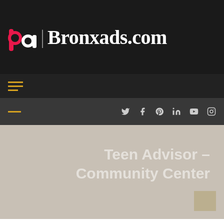[Figure (logo): Bronxads.com logo with stylized 'ba' icon in pink/white and site name in white serif font on dark background]
≡ (hamburger menu icon)
Social media icons: Twitter, Facebook, Pinterest, LinkedIn, YouTube, Instagram
Teen Advisor – Community Center